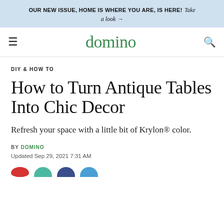OUR NEW ISSUE, HOME IS WHERE YOU ARE, IS HERE! Take a look →
domino
DIY & HOW TO
How to Turn Antique Tables Into Chic Decor
Refresh your space with a little bit of Krylon® color.
BY DOMINO
Updated Sep 29, 2021 7:31 AM